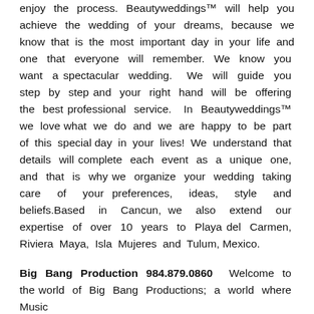enjoy the process. Beautyweddings™ will help you achieve the wedding of your dreams, because we know that is the most important day in your life and one that everyone will remember. We know you want a spectacular wedding. We will guide you step by step and your right hand will be offering the best professional service. In Beautyweddings™ we love what we do and we are happy to be part of this special day in your lives! We understand that details will complete each event as a unique one, and that is why we organize your wedding taking care of your preferences, ideas, style and beliefs.Based in Cancun, we also extend our expertise of over 10 years to Playa del Carmen, Riviera Maya, Isla Mujeres and Tulum, Mexico.
Big Bang Production 984.879.0860   Welcome to the world of Big Bang Productions; a world where Music